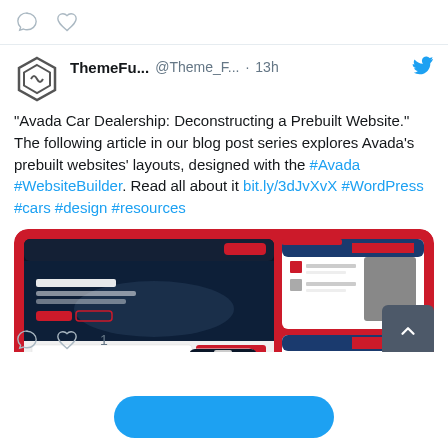[Figure (other): Top bar with comment bubble and heart icon from previous tweet]
[Figure (other): Twitter avatar - hexagonal logo for ThemeFusion]
ThemeFu... @Theme_F... · 13h
"Avada Car Dealership: Deconstructing a Prebuilt Website." The following article in our blog post series explores Avada's prebuilt websites' layouts, designed with the #Avada #WebsiteBuilder. Read all about it bit.ly/3dJvXvX #WordPress #cars #design #resources
[Figure (screenshot): Screenshot of Avada Car Dealership prebuilt website showing dark blue car dealership homepage with red accents, multiple device mockups including desktop and mobile views]
[Figure (other): Tweet action bar with comment icon, heart icon and like count of 1, and dark scroll-to-top button]
[Figure (other): Blue rounded load more button at bottom of page]